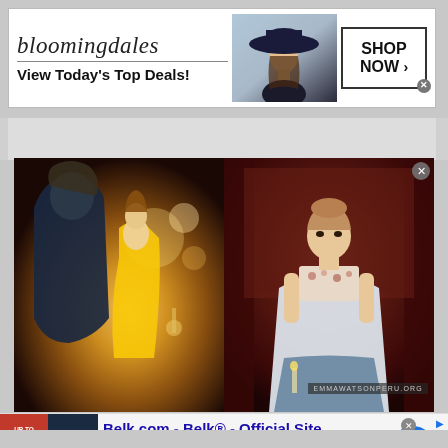[Figure (photo): Bloomingdale's banner ad with logo, 'View Today's Top Deals!' tagline, a woman in a wide-brimmed hat, and a 'SHOP NOW >' button]
[Figure (photo): Two side-by-side movie still images from Beauty and the Beast. Left: Beast and Belle dancing in golden ballroom. Right: Emma Watson as Belle in a white/floral dress. Watermark: EMMAWATSONPERU.ORG]
[Figure (photo): Belk.com advertisement with two thumbnail images (red 'UP TO 65% OFF' and dark 'UP TO 60% bedding & ho'), title 'Belk.com - Belk® - Official Site', description 'Shop for clothing, handbags, jewelry, beauty, home & more!', URL 'www.belk.com', and blue circular CTA button with arrow]